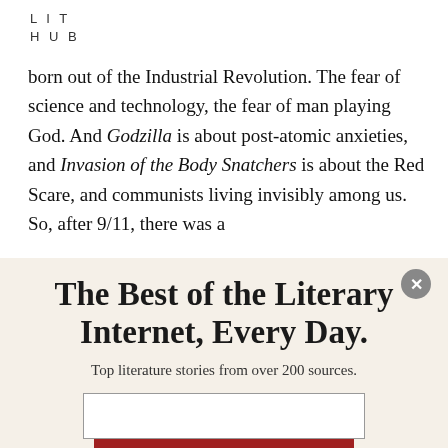LIT
HUB
born out of the Industrial Revolution. The fear of science and technology, the fear of man playing God. And Godzilla is about post-atomic anxieties, and Invasion of the Body Snatchers is about the Red Scare, and communists living invisibly among us. So, after 9/11, there was a
The Best of the Literary Internet, Every Day.
Top literature stories from over 200 sources.
SUBSCRIBE